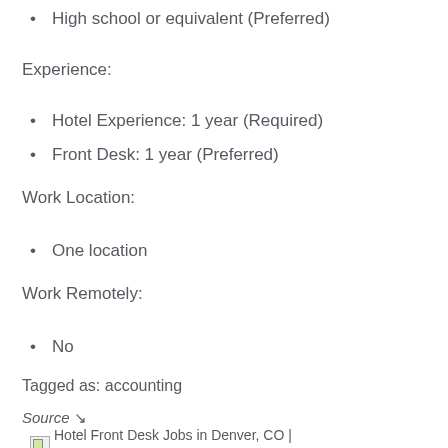High school or equivalent (Preferred)
Experience:
Hotel Experience: 1 year (Required)
Front Desk: 1 year (Preferred)
Work Location:
One location
Work Remotely:
No
Tagged as: accounting
Source ↗
Hotel Front Desk Jobs in Denver, CO | Indeed.com